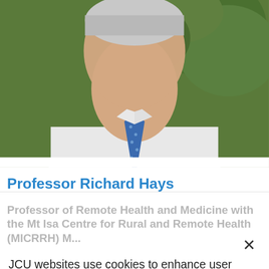[Figure (photo): Headshot photo of Professor Richard Hays, a man in a white shirt and blue tie, with green foliage in background]
Professor Richard Hays
Professor of Remote Health and Medicine with the Mt Isa Centre for Rural and Remote Health (MICRRH) M...
JCU websites use cookies to enhance user experience, analyse site usage, and assist with outreach and enrolment. By continuing to use this site, you are giving us consent to do this.